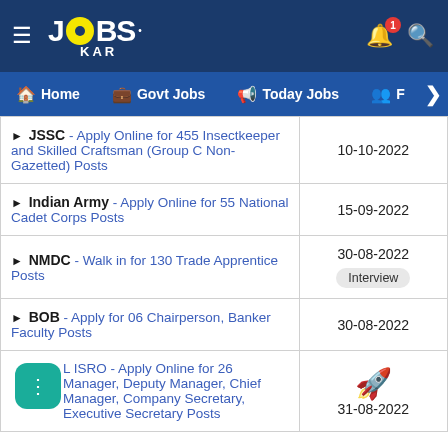JOBS KAR - Home | Govt Jobs | Today Jobs | F
JSSC - Apply Online for 455 Insectkeeper and Skilled Craftsman (Group C Non-Gazetted) Posts | 10-10-2022
Indian Army - Apply Online for 55 National Cadet Corps Posts | 15-09-2022
NMDC - Walk in for 130 Trade Apprentice Posts | 30-08-2022 | Interview
BOB - Apply for 06 Chairperson, Banker Faculty Posts | 30-08-2022
L ISRO - Apply Online for 26 Manager, Deputy Manager, Chief Manager, Company Secretary, Executive Secretary Posts | 31-08-2022